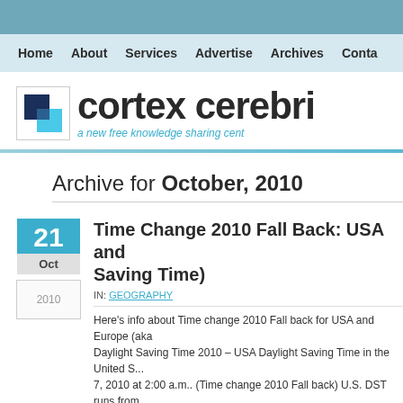cortex cerebri — a new free knowledge sharing cent...
Home About Services Advertise Archives Conta...
Archive for October, 2010
Time Change 2010 Fall Back: USA and ... Saving Time)
IN: GEOGRAPHY
Here's info about Time change 2010 Fall back for USA and Europe (aka Daylight Saving Time 2010 – USA Daylight Saving Time in the United S... 7, 2010 at 2:00 a.m.. (Time change 2010 Fall back) U.S. DST runs from